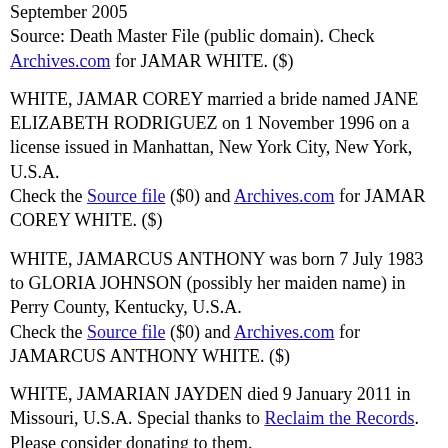September 2005
Source: Death Master File (public domain). Check Archives.com for JAMAR WHITE. ($)
WHITE, JAMAR COREY married a bride named JANE ELIZABETH RODRIGUEZ on 1 November 1996 on a license issued in Manhattan, New York City, New York, U.S.A.
Check the Source file ($0) and Archives.com for JAMAR COREY WHITE. ($)
WHITE, JAMARCUS ANTHONY was born 7 July 1983 to GLORIA JOHNSON (possibly her maiden name) in Perry County, Kentucky, U.S.A.
Check the Source file ($0) and Archives.com for JAMARCUS ANTHONY WHITE. ($)
WHITE, JAMARIAN JAYDEN died 9 January 2011 in Missouri, U.S.A. Special thanks to Reclaim the Records. Please consider donating to them.
Check the Source file ($0) and Archives.com for